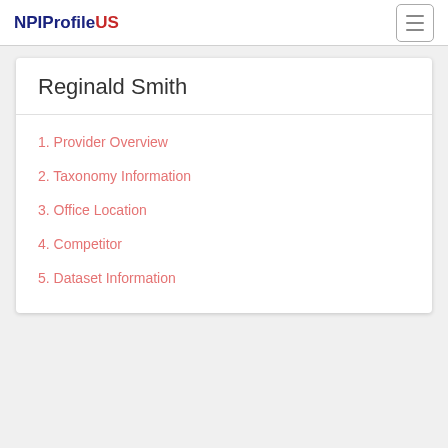NPIProfileUS
Reginald Smith
1. Provider Overview
2. Taxonomy Information
3. Office Location
4. Competitor
5. Dataset Information